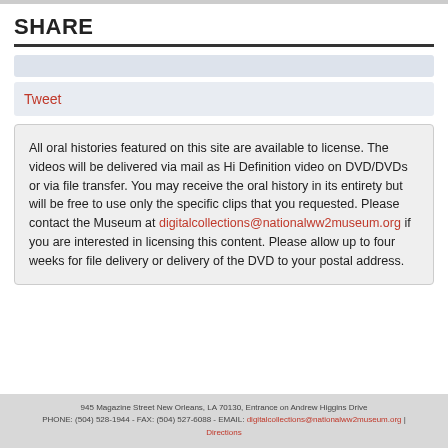SHARE
All oral histories featured on this site are available to license. The videos will be delivered via mail as Hi Definition video on DVD/DVDs or via file transfer. You may receive the oral history in its entirety but will be free to use only the specific clips that you requested. Please contact the Museum at digitalcollections@nationalww2museum.org if you are interested in licensing this content. Please allow up to four weeks for file delivery or delivery of the DVD to your postal address.
945 Magazine Street New Orleans, LA 70130, Entrance on Andrew Higgins Drive
PHONE: (504) 528-1944 - FAX: (504) 527-6088 - EMAIL: digitalcollections@nationalww2museum.org | Directions